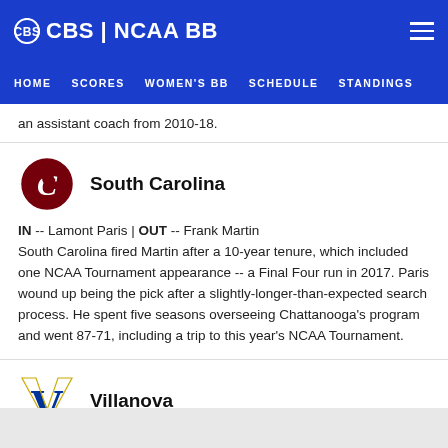CBS | NCAA BB  HOME  SCORES  WOMEN'S BB  SCHEDULE  STANDINGS
an assistant coach from 2010-18.
South Carolina
IN -- Lamont Paris | OUT -- Frank Martin
South Carolina fired Martin after a 10-year tenure, which included one NCAA Tournament appearance -- a Final Four run in 2017. Paris wound up being the pick after a slightly-longer-than-expected search process. He spent five seasons overseeing Chattanooga's program and went 87-71, including a trip to this year's NCAA Tournament.
Villanova
IN  Kyle Neptune | OUT  Jay Wright